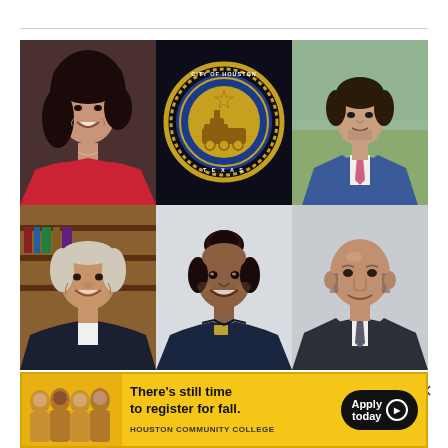[Figure (photo): Collage of 5 Houston 2023 mayoral candidates and City of Houston seal. Top row: woman in red top (smiling), City of Houston Texas official seal on black background, man in blue suit with pink tie. Bottom row: older man in dark jacket, woman in navy uniform with braided hair up, bald man in suit.]
Houston 2023 mayoral candidates weigh in on fundraising
[Figure (infographic): Houston Community College advertisement banner in yellow. Left side shows group photo of students. Text reads: There's still time to register for fall. HOUSTON COMMUNITY COLLEGE. Black Apply today button with play circle icon.]